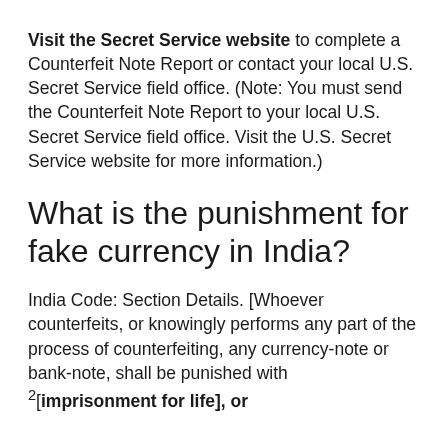Visit the Secret Service website to complete a Counterfeit Note Report or contact your local U.S. Secret Service field office. (Note: You must send the Counterfeit Note Report to your local U.S. Secret Service field office. Visit the U.S. Secret Service website for more information.)
What is the punishment for fake currency in India?
India Code: Section Details. [Whoever counterfeits, or knowingly performs any part of the process of counterfeiting, any currency-note or bank-note, shall be punished with 2[imprisonment for life], or